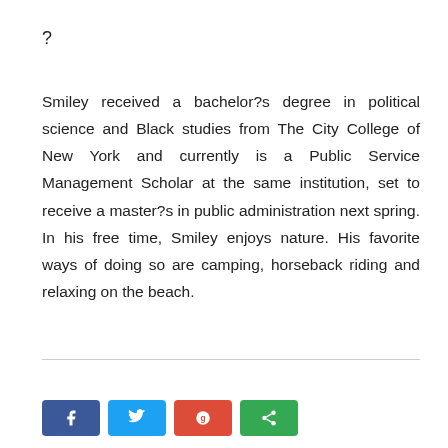?
Smiley received a bachelor?s degree in political science and Black studies from The City College of New York and currently is a Public Service Management Scholar at the same institution, set to receive a master?s in public administration next spring. In his free time, Smiley enjoys nature. His favorite ways of doing so are camping, horseback riding and relaxing on the beach.
[Figure (other): Social media share buttons: Facebook (blue), Twitter (cyan), Google/Pinterest (red), Share (green)]